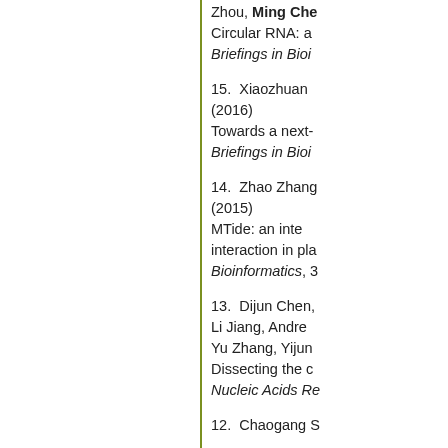Zhou, Ming Che... Circular RNA: a... Briefings in Bioi...
15. Xiaozhuan... (2016) Towards a next-... Briefings in Bioi...
14. Zhao Zhang... (2015) MTide: an inte... interaction in pla... Bioinformatics, 3...
13. Dijun Chen,... Li Jiang, Andrew... Yu Zhang, Yijun... Dissecting the c... Nucleic Acids Re...
12. Chaogang S...